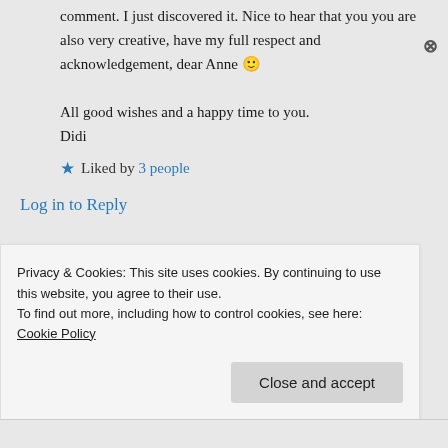comment. I just discovered it. Nice to hear that you you are also very creative, have my full respect and acknowledgement, dear Anne 🙂

All good wishes and a happy time to you.
Didi
★ Liked by 3 people
Log in to Reply
Privacy & Cookies: This site uses cookies. By continuing to use this website, you agree to their use.
To find out more, including how to control cookies, see here: Cookie Policy
Close and accept